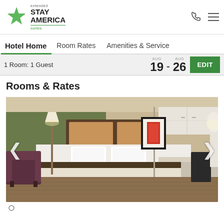[Figure (logo): Extended Stay America Suites logo with green star]
Extended Stay America Suites - Hotel Home navigation with Room Rates, Amenities & Services
1 Room: 1 Guest  Aug 19 - Aug 26  EDIT
Rooms & Rates
[Figure (photo): Hotel room photo showing a king bed with white linens, dark headboard, green accent wall, armchair, floor lamp, framed art, and kitchenette area with white cabinets and desk on right]